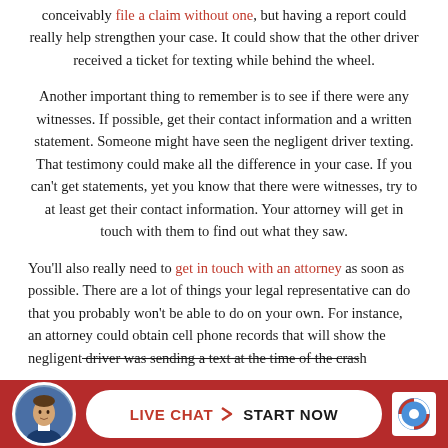conceivably file a claim without one, but having a report could really help strengthen your case. It could show that the other driver received a ticket for texting while behind the wheel.
Another important thing to remember is to see if there were any witnesses. If possible, get their contact information and a written statement. Someone might have seen the negligent driver texting. That testimony could make all the difference in your case. If you can't get statements, yet you know that there were witnesses, try to at least get their contact information. Your attorney will get in touch with them to find out what they saw.
You'll also really need to get in touch with an attorney as soon as possible. There are a lot of things your legal representative can do that you probably won't be able to do on your own. For instance, an attorney could obtain cell phone records that will show the negligent driver was sending a text at the time of the crash
[Figure (other): Live chat button bar with attorney photo avatar, red background, white pill-shaped button reading LIVE CHAT > START NOW, and reCAPTCHA icon]